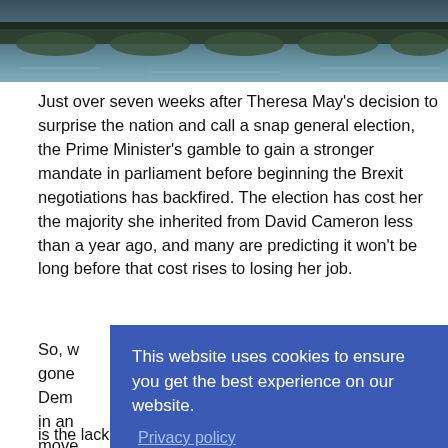[Figure (photo): Aerial or side view of a bridge over a river with water visible below, teal/blue-green tones.]
Just over seven weeks after Theresa May's decision to surprise the nation and call a snap general election, the Prime Minister's gamble to gain a stronger mandate in parliament before beginning the Brexit negotiations has backfired. The election has cost her the majority she inherited from David Cameron less than a year ago, and many are predicting it won't be long before that cost rises to losing her job.
So, w[...partially obscured...] gone[...] Dem[...] in an[...] move[...] cons[...] right[...] Euro[...] is the lack of stability the result of the election has resulted in.
This website uses cookies to ensure you get the best experience on our website.
Privacy policy
Decline
Allow cookies